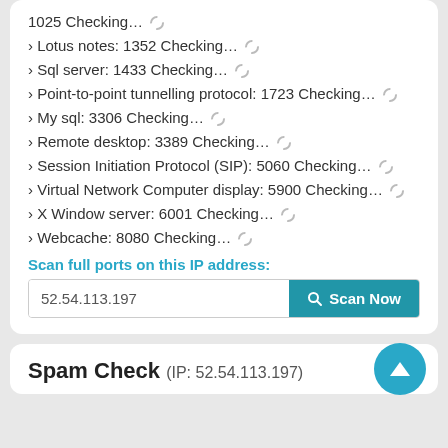1025 Checking...
Lotus notes: 1352 Checking...
Sql server: 1433 Checking...
Point-to-point tunnelling protocol: 1723 Checking...
My sql: 3306 Checking...
Remote desktop: 3389 Checking...
Session Initiation Protocol (SIP): 5060 Checking...
Virtual Network Computer display: 5900 Checking...
X Window server: 6001 Checking...
Webcache: 8080 Checking...
Scan full ports on this IP address:
52.54.113.197
Scan Now
Spam Check (IP: 52.54.113.197)